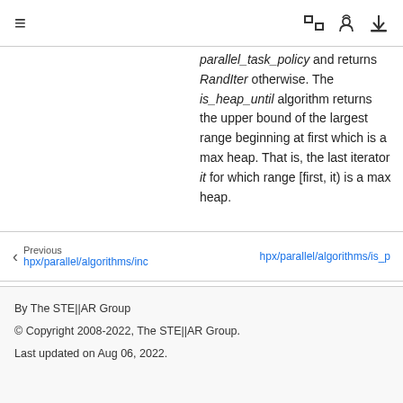≡   [  ]  (github)  (download)
parallel_task_policy and returns RandIter otherwise. The is_heap_until algorithm returns the upper bound of the largest range beginning at first which is a max heap. That is, the last iterator it for which range [first, it) is a max heap.
Previous hpx/parallel/algorithms/inc    hpx/parallel/algorithms/is_p
By The STE||AR Group
© Copyright 2008-2022, The STE||AR Group.
Last updated on Aug 06, 2022.